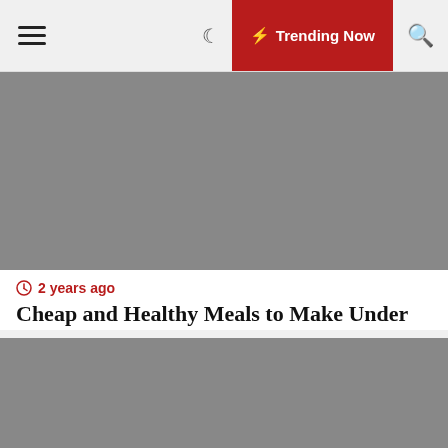☰ Trending Now 🔍
[Figure (photo): Gray placeholder image for article about cheap and healthy meals]
2 years ago
Cheap and Healthy Meals to Make Under $6
[Figure (photo): Gray placeholder image for second article]
2 years ago